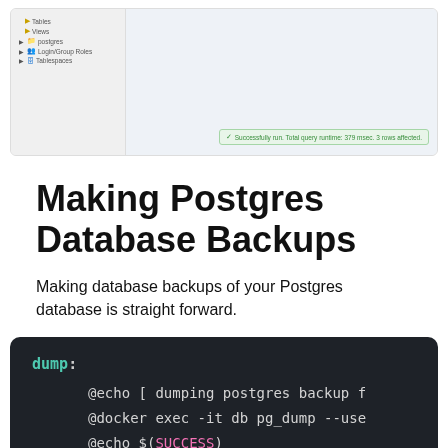[Figure (screenshot): pgAdmin database GUI screenshot showing a tree panel on the left with postgres, Login/Group Roles, Tablespaces items, and a query result panel on the right showing a success message: Successfully run. Total query runtime: 379 msec. 3 rows affected.]
Making Postgres Database Backups
Making database backups of your Postgres database is straight forward.
[Figure (screenshot): Code block on dark background showing a Makefile dump target with three commands: @echo [ dumping postgres backup f, @docker exec -it db pg_dump --use, @echo $(SUCCESS)]